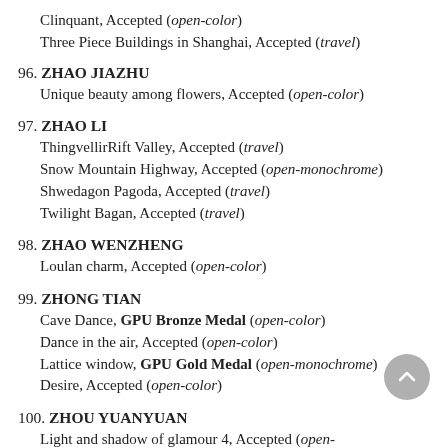Clinquant, Accepted (open-color)
Three Piece Buildings in Shanghai, Accepted (travel)
96. ZHAO JIAZHU
Unique beauty among flowers, Accepted (open-color)
97. ZHAO LI
ThingvellirRift Valley, Accepted (travel)
Snow Mountain Highway, Accepted (open-monochrome)
Shwedagon Pagoda, Accepted (travel)
Twilight Bagan, Accepted (travel)
98. ZHAO WENZHENG
Loulan charm, Accepted (open-color)
99. ZHONG TIAN
Cave Dance, GPU Bronze Medal (open-color)
Dance in the air, Accepted (open-color)
Lattice window, GPU Gold Medal (open-monochrome)
Desire, Accepted (open-color)
100. ZHOU YUANYUAN
Light and shadow of glamour 4, Accepted (open-